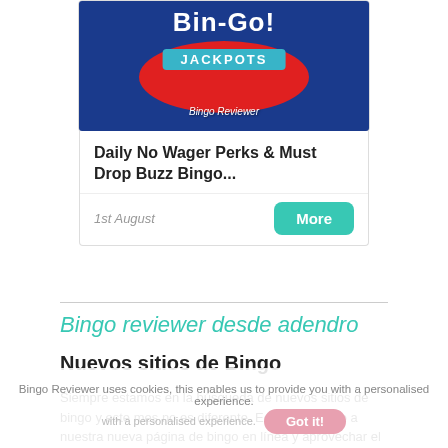[Figure (screenshot): Bingo game promotional card image with blue background, red oval, teal 'JACKPOTS' banner, and text reading 'Bin-Go!' with Bingo Reviewer logo at bottom]
Daily No Wager Perks & Must Drop Buzz Bingo...
1st August
Bingo reviewer desde adendro
Nuevos sitios de Bingo
Siempre estamos en la búsqueda de nuevos sitios de bingo y este mes no es diferente. Echa un vistazo a nuestra nueva página de bingo en línea y aprovechar el
Bingo Reviewer uses cookies, this enables us to provide you with a personalised experience.